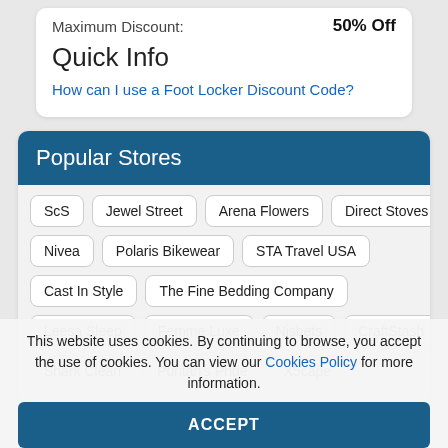Maximum Discount: 50% Off
Quick Info
How can I use a Foot Locker Discount Code?
Popular Stores
ScS
Jewel Street
Arena Flowers
Direct Stoves
Nivea
Polaris Bikewear
STA Travel USA
Cast In Style
The Fine Bedding Company
Leesa Sleep
Femme Luxe
Nisbets
CraftStash
Shark Clean
Puritan's Pride
X5cape
This website uses cookies. By continuing to browse, you accept the use of cookies. You can view our Cookies Policy for more information.
ACCEPT